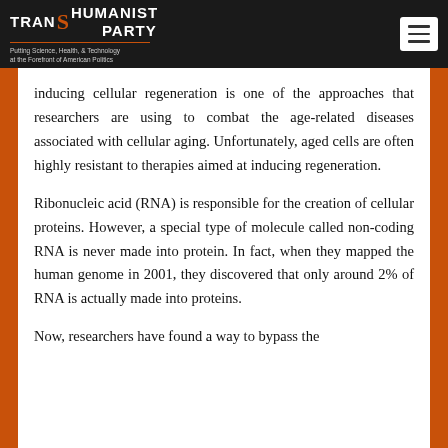TRANSHUMANIST PARTY — Putting Science, Health, & Technology at the Forefront of American Politics
inducing cellular regeneration is one of the approaches that researchers are using to combat the age-related diseases associated with cellular aging. Unfortunately, aged cells are often highly resistant to therapies aimed at inducing regeneration.
Ribonucleic acid (RNA) is responsible for the creation of cellular proteins. However, a special type of molecule called non-coding RNA is never made into protein. In fact, when they mapped the human genome in 2001, they discovered that only around 2% of RNA is actually made into proteins.
Now, researchers have found a way to bypass the